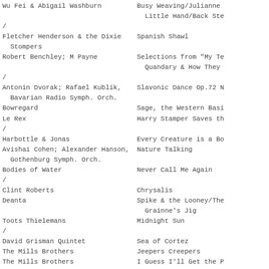Wu Fei & Abigail Washburn | Busy Weaving/Julianne Little Hand/Back Ste
/
Fletcher Henderson & the Dixie Stompers | Spanish Shawl
Robert Benchley; M Payne | Selections from "My Te Quandary & How They
/
Antonin Dvorak; Rafael Kublik, Bavarian Radio Symph. Orch. | Slavonic Dance Op.72 N
Bowregard | Sage, the Western Basi
Le Rex | Harry Stamper Saves th
/
Harbottle & Jonas | Every Creature is a Bo
Avishai Cohen; Alexander Hanson, Gothenburg Symph. Orch. | Nature Talking
Bodies of Water | Never Call Me Again
/
Clint Roberts | Chrysalis
Deanta | Spike & the Looney/The Grainne's Jig
Toots Thielemans | Midnight Sun
/
David Grisman Quintet | Sea of Cortez
The Mills Brothers | Jeepers Creepers
The Mills Brothers | I Guess I'll Get the P Home